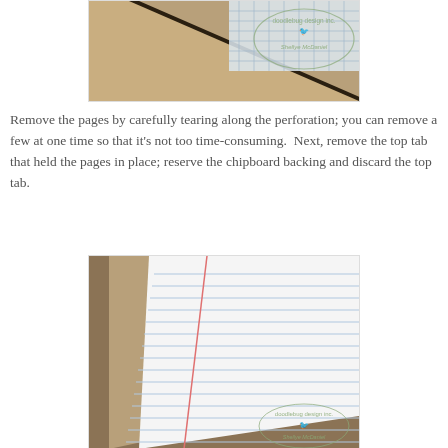[Figure (photo): Close-up photo of notebook/notepad corner with chipboard backing visible and a doodlebug design inc. / Shellye McDaniel watermark stamp in the upper right corner. Brown kraft chipboard and decorative paper visible at diagonal angles.]
Remove the pages by carefully tearing along the perforation; you can remove a few at one time so that it's not too time-consuming.  Next, remove the top tab that held the pages in place; reserve the chipboard backing and discard the top tab.
[Figure (photo): Photo showing a lined notepad with white ruled pages (blue horizontal lines and a red vertical margin line) fanned slightly, resting on brown kraft chipboard backing, with a doodlebug design inc. watermark visible in the bottom right corner.]